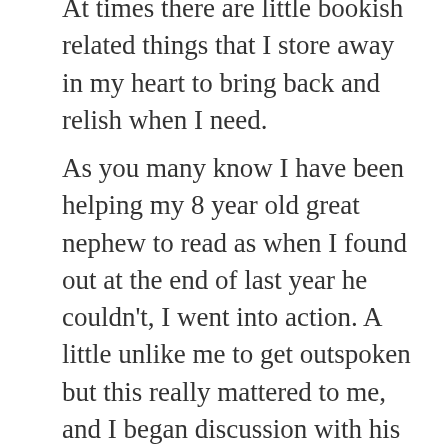At times there are little bookish related things that I store away in my heart to bring back and relish when I need.
As you many know I have been helping my 8 year old great nephew to read as when I found out at the end of last year he couldn't, I went into action. A little unlike me to get outspoken but this really mattered to me, and I began discussion with his mother and grandmother – my sister. After quite a few Saturdays of hard slog, there came one Saturday when we were both on song and he read so much more smoothly. He'd read the book to his grandmother and sister and then taught his six year old sister  to read it. (His grandmother sent me a video of himself and his sister sitting on the couch with Max having his arm around her shoulder while she read. Of course it's not all roses every week, but we are making some progress. Because of Omicron I just made him a video for this week and dropped the books off for him. He'll make a video of himself reading the books and